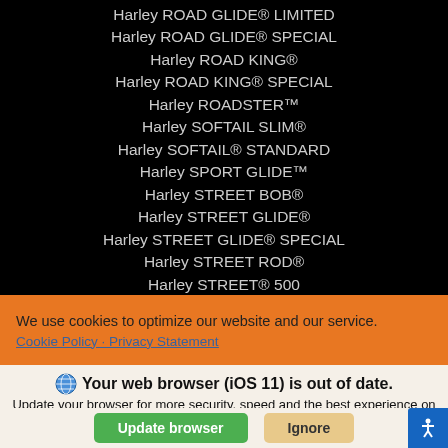Harley ROAD GLIDE® LIMITED
Harley ROAD GLIDE® SPECIAL
Harley ROAD KING®
Harley ROAD KING® SPECIAL
Harley ROADSTER™
Harley SOFTAIL SLIM®
Harley SOFTAIL® STANDARD
Harley SPORT GLIDE™
Harley STREET BOB®
Harley STREET GLIDE®
Harley STREET GLIDE® SPECIAL
Harley STREET ROD®
Harley STREET® 500
Harley STREET® 750
Harley TRI GLIDE® ULTRA
We use cookies to optimize our website and our service.
Cookie Policy  Privacy Statement
🌐 Your web browser (iOS 11) is out of date. Update your browser for more security, speed and the best experience on this site.
Update browser   Ignore